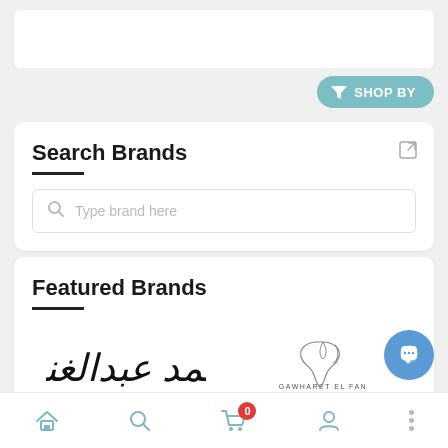[Figure (screenshot): White card bar at the top of the page]
[Figure (screenshot): Shop By filter button with funnel icon, teal/blue-green rounded pill shape]
Search Brands
[Figure (screenshot): Search input box with magnifying glass icon and placeholder text 'Type brand here']
Featured Brands
[Figure (logo): Ahmed Abd El Ghany brand logo in Arabic calligraphy script]
[Figure (logo): Gawharet El Fan brand logo with decorative swirl and text 'GAWHARET EL FAN']
[Figure (screenshot): Bottom navigation bar with home, search, cart (badge showing 0), profile icons, chat button, and three dots]